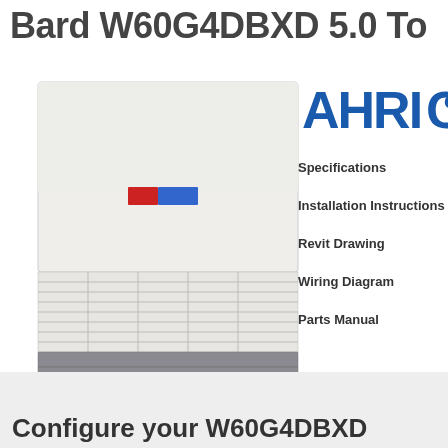Bard W60G4DBXD 5.0 To
[Figure (photo): Bard W60G4DBXD wall-mount air conditioning unit, white cabinet with louvered panels and grey roll-up door section, shown at an angle with shadow]
[Figure (logo): AHRI Certified logo in blue]
Specifications
Installation Instructions
Revit Drawing
Wiring Diagram
Parts Manual
Configure your W60G4DBXD